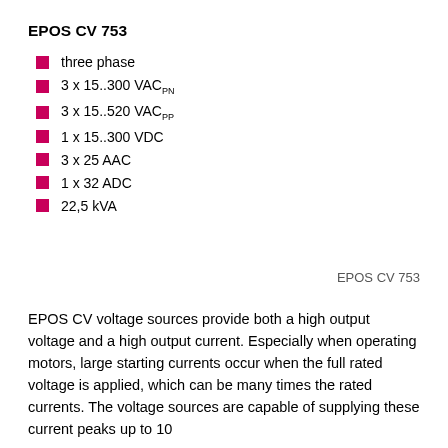EPOS CV 753
three phase
3 x 15..300 VACPN
3 x 15..520 VACPP
1 x 15..300 VDC
3 x 25 AAC
1 x 32 ADC
22,5 kVA
EPOS CV 753
EPOS CV voltage sources provide both a high output voltage and a high output current. Especially when operating motors, large starting currents occur when the full rated voltage is applied, which can be many times the rated currents. The voltage sources are capable of supplying these current peaks up to 10